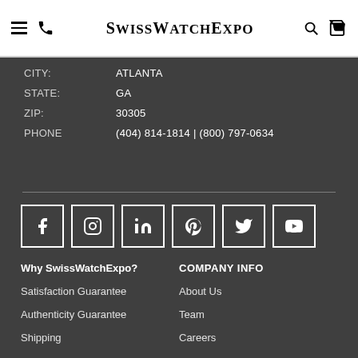SwissWatchExpo
CITY: ATLANTA
STATE: GA
ZIP: 30305
PHONE (404) 814-1814 | (800) 797-0634
[Figure (infographic): Social media icons: Facebook, Instagram, LinkedIn, Pinterest, Twitter, YouTube]
Why SwissWatchExpo?
COMPANY INFO
Satisfaction Guarantee
About Us
Authenticity Guarantee
Team
Shipping
Careers